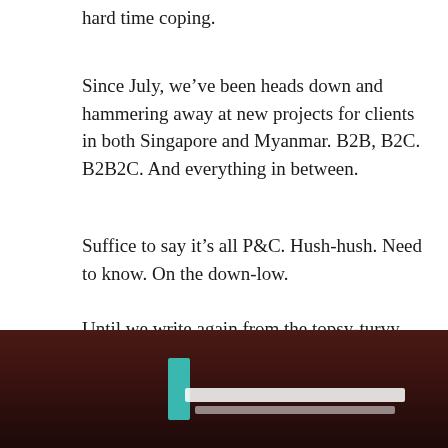hard time coping.
Since July, we've been heads down and hammering away at new projects for clients in both Singapore and Myanmar. B2B, B2C. B2B2C. And everything in between.
Suffice to say it's all P&C. Hush-hush. Need to know. On the down-low.
Until we write again from the topsy-turvy world of Blak Labs. Where we do everything we can to deliver with Creative Care.
[Figure (photo): Dark reddish-brown table surface with a teal-colored object and a white laptop or device partially visible]